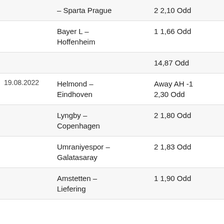| Date | Match | Bet | Result |
| --- | --- | --- | --- |
|  | – Sparta Prague | 2 2,10 Odd | WIN |
|  | Bayer L – Hoffenheim | 1 1,66 Odd | LOSE |
|  |  | 14,87 Odd | LOSE |
| 19.08.2022 | Helmond – Eindhoven | Away AH -1 2,30 Odd | DRAW |
|  | Lyngby – Copenhagen | 2 1,80 Odd | WIN |
|  | Umraniyespor – Galatasaray | 2 1,83 Odd | WIN |
|  | Amstetten – Liefering | 1 1,90 Odd | WIN |